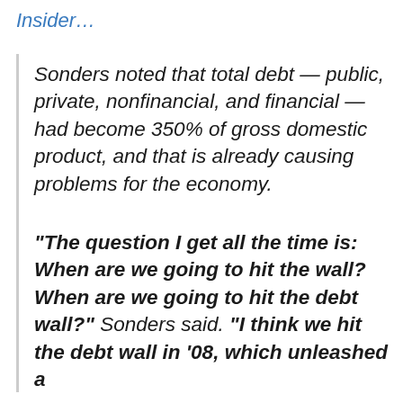Insider…
Sonders noted that total debt — public, private, nonfinancial, and financial — had become 350% of gross domestic product, and that is already causing problems for the economy.
“The question I get all the time is: When are we going to hit the wall? When are we going to hit the debt wall?” Sonders said. “I think we hit the debt wall in ’08, which unleashed a